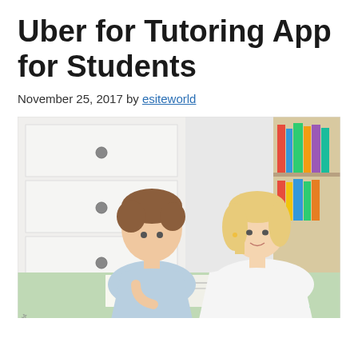Uber for Tutoring App for Students
November 25, 2017 by esiteworld
[Figure (photo): A young boy in a light blue shirt and a blonde woman in a white top sitting together at a green table, looking at an open book, with white dresser drawers in the background and colorful books on shelves to the right.]